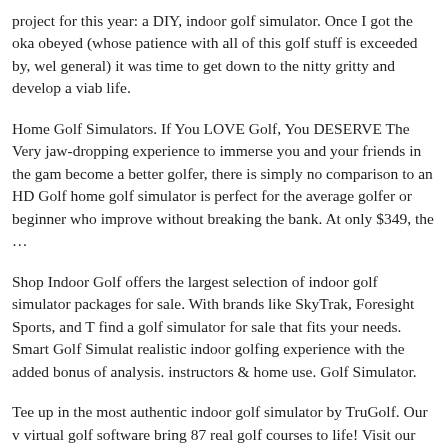project for this year: a DIY, indoor golf simulator. Once I got the oka obeyed (whose patience with all of this golf stuff is exceeded by, wel general) it was time to get down to the nitty gritty and develop a viab life.
Home Golf Simulators. If You LOVE Golf, You DESERVE The Very jaw-dropping experience to immerse you and your friends in the gam become a better golfer, there is simply no comparison to an HD Golf home golf simulator is perfect for the average golfer or beginner who improve without breaking the bank. At only $349, the …
Shop Indoor Golf offers the largest selection of indoor golf simulator packages for sale. With brands like SkyTrak, Foresight Sports, and T find a golf simulator for sale that fits your needs. Smart Golf Simulat realistic indoor golfing experience with the added bonus of analysis. instructors & home use. Golf Simulator.
Tee up in the most authentic indoor golf simulator by TruGolf. Our v virtual golf software bring 87 real golf courses to life! Visit our site t